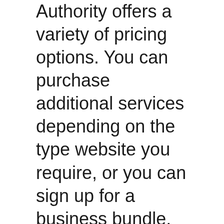Authority offers a variety of pricing options. You can purchase additional services depending on the type website you require, or you can sign up for a business bundle. Prices are not readily available on the website. You will need to contact the company for more information. You can also pay by the hour or per project, whichever option is most suitable for your business.
In addition to the website builder, Inc Authority offers business planning and consulting services. Their business advisors can help you create a business plan based on your location, type of business, and other factors. Other services include a private consultation with a web designer, SEO-optimized content, website directory listings,